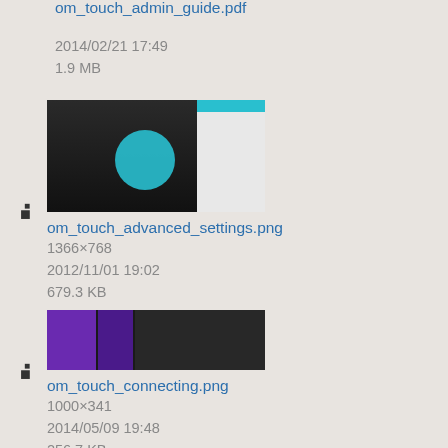om_touch_admin_guide.pdf
2014/02/21 17:49
1.9 MB
[Figure (screenshot): Thumbnail of om_touch_advanced_settings.png showing a dark background with a cyan/teal panel on the right]
om_touch_advanced_settings.png
1366×768
2012/11/01 19:02
679.3 KB
[Figure (screenshot): Thumbnail of om_touch_connecting.png showing purple and dark panels side by side]
om_touch_connecting.png
1000×341
2014/05/09 19:48
256.7 KB
[Figure (screenshot): Thumbnail of om_touch_help.png showing a dark background with a white document panel on the right]
om_touch_help.png
1366×768